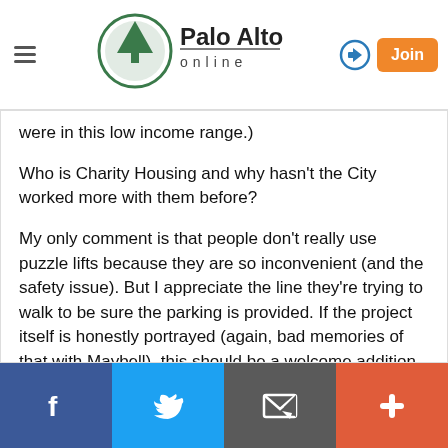Palo Alto online
were in this low income range.)
Who is Charity Housing and why hasn't the City worked more with them before?
My only comment is that people don't really use puzzle lifts because they are so inconvenient (and the safety issue). But I appreciate the line they're trying to walk to be sure the parking is provided. If the project itself is honestly portrayed (again, bad memories of that with Maybell), this should be a welcome addition and model for other projects going forward.
Report Objectionable Comment | Email Moderator
Facebook | Twitter | Email | Plus